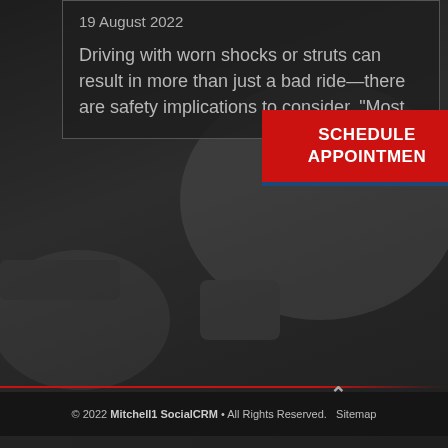[Figure (photo): Dark background photo of automotive/mechanical parts, dimly lit garage scene with engine components visible]
19 August 2022
Driving with worn shocks or struts can result in more than just a bad ride—there are safety implications to consider. "Most
[Figure (infographic): Red button with white bold text reading SCHEDULE APPOINTMENT on dark red background with blue bottom border]
© 2022 Mitchell1 SocialCRM • All Rights Reserved. Sitemap